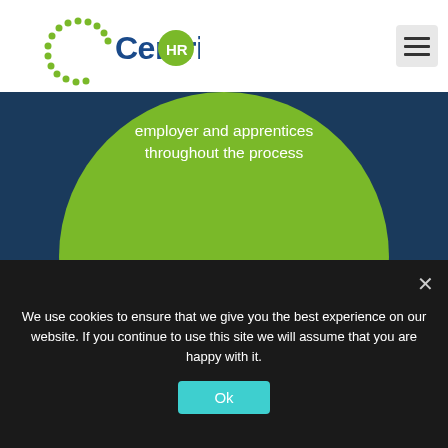[Figure (logo): Centric HR logo with green dotted circle icon and blue 'Centric' text with green 'HR' badge]
[Figure (other): Hamburger menu icon (three horizontal lines) in a light grey rounded square]
employer and apprentices throughout the process
We use cookies to ensure that we give you the best experience on our website. If you continue to use this site we will assume that you are happy with it.